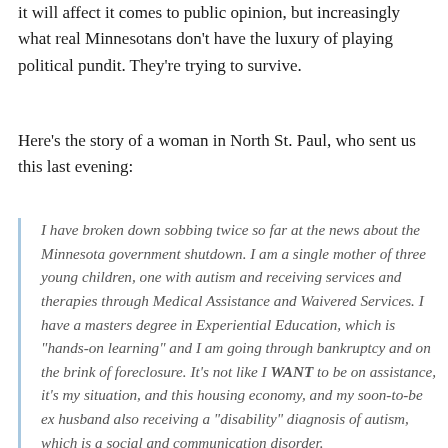it will affect it comes to public opinion, but increasingly what real Minnesotans don’t have the luxury of playing political pundit. They’re trying to survive.
Here’s the story of a woman in North St. Paul, who sent us this last evening:
I have broken down sobbing twice so far at the news about the Minnesota government shutdown. I am a single mother of three young children, one with autism and receiving services and therapies through Medical Assistance and Waivered Services. I have a masters degree in Experiential Education, which is “hands-on learning” and I am going through bankruptcy and on the brink of foreclosure. It’s not like I WANT to be on assistance, it’s my situation, and this housing economy, and my soon-to-be ex husband also receiving a “disability” diagnosis of autism, which is a social and communication disorder.
I have received two letters from Ramsey County Social Services saying that my daycare assistance will be shut down, and I’ve